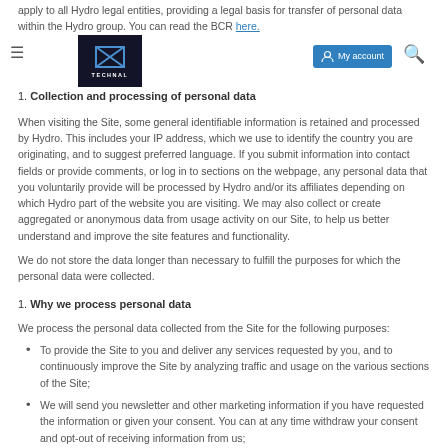apply to all Hydro legal entities, providing a legal basis for transfer of personal data within the Hydro group. You can read the BCR here.
Technal navigation bar with logo, My account button, and search icon
1. Collection and processing of personal data
When visiting the Site, some general identifiable information is retained and processed by Hydro. This includes your IP address, which we use to identify the country you are originating, and to suggest preferred language. If you submit information into contact fields or provide comments, or log in to sections on the webpage, any personal data that you voluntarily provide will be processed by Hydro and/or its affiliates depending on which Hydro part of the website you are visiting. We may also collect or create aggregated or anonymous data from usage activity on our Site, to help us better understand and improve the site features and functionality.
We do not store the data longer than necessary to fulfill the purposes for which the personal data were collected.
1. Why we process personal data
We process the personal data collected from the Site for the following purposes:
To provide the Site to you and deliver any services requested by you, and to continuously improve the Site by analyzing traffic and usage on the various sections of the Site;
We will send you newsletter and other marketing information if you have requested the information or given your consent. You can at any time withdraw your consent and opt-out of receiving information from us;
If you have submitted a contact form, we use your provided personal data in order to answer